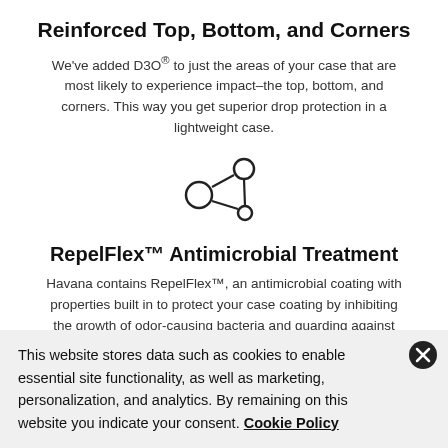Reinforced Top, Bottom, and Corners
We've added D3O® to just the areas of your case that are most likely to experience impact–the top, bottom, and corners. This way you get superior drop protection in a lightweight case.
[Figure (illustration): Icon showing three connected circles in a molecular/share-like network diagram]
RepelFlex™ Antimicrobial Treatment
Havana contains RepelFlex™, an antimicrobial coating with properties built in to protect your case coating by inhibiting the growth of odor-causing bacteria and guarding against
This website stores data such as cookies to enable essential site functionality, as well as marketing, personalization, and analytics. By remaining on this website you indicate your consent. Cookie Policy